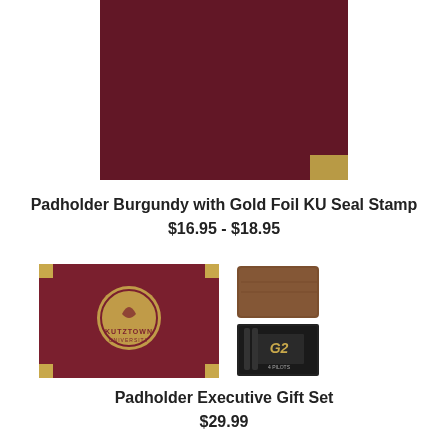[Figure (photo): Partial view of a burgundy padholder with gold corner accents, cropped at top of page]
Padholder Burgundy with Gold Foil KU Seal Stamp
$16.95 - $18.95
[Figure (photo): Padholder Executive Gift Set showing a burgundy padfolio with Kutztown University gold seal, a brown leather card holder, and a pack of Pilot G2 pens]
Padholder Executive Gift Set
$29.99